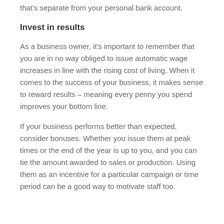that's separate from your personal bank account.
Invest in results
As a business owner, it's important to remember that you are in no way obliged to issue automatic wage increases in line with the rising cost of living. When it comes to the success of your business, it makes sense to reward results – meaning every penny you spend improves your bottom line.
If your business performs better than expected, consider bonuses. Whether you issue them at peak times or the end of the year is up to you, and you can tie the amount awarded to sales or production. Using them as an incentive for a particular campaign or time period can be a good way to motivate staff too.